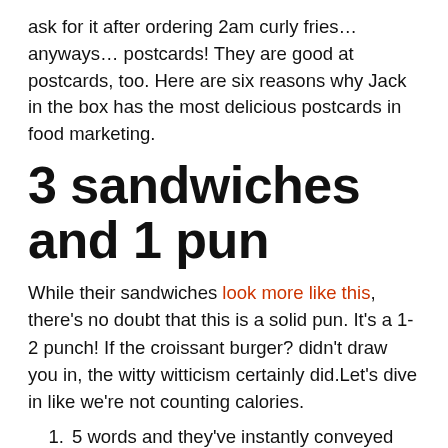ask for it after ordering 2am curly fries… anyways… postcards! They are good at postcards, too. Here are six reasons why Jack in the box has the most delicious postcards in food marketing.
3 sandwiches and 1 pun
While their sandwiches look more like this, there's no doubt that this is a solid pun. It's a 1-2 punch! If the croissant burger? didn't draw you in, the witty witticism certainly did.Let's dive in like we're not counting calories.
5 words and they've instantly conveyed their message… deliciousness comes in multiple forms.
3 hero images. That's bacon, a token chicken for the vegetarians ;p, and the extra cow